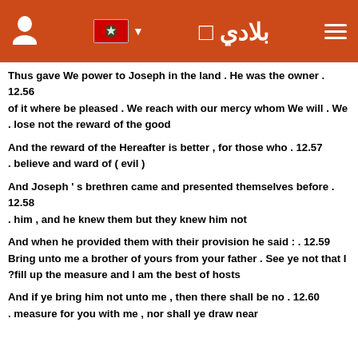بلادي (Biladi logo header with flag and icons)
Thus gave We power to Joseph in the land . He was the owner . 12.56 of it where be pleased . We reach with our mercy whom We will . We . lose not the reward of the good
And the reward of the Hereafter is better , for those who . 12.57 . believe and ward of ( evil )
And Joseph ' s brethren came and presented themselves before . 12.58 . him , and he knew them but they knew him not
And when he provided them with their provision he said : . 12.59 Bring unto me a brother of yours from your father . See ye not that I ?fill up the measure and I am the best of hosts
And if ye bring him not unto me , then there shall be no . 12.60 . measure for you with me , nor shall ye draw near